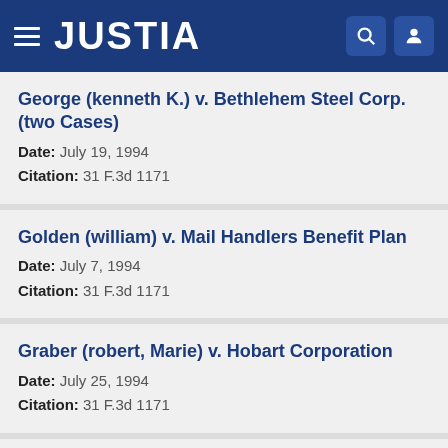JUSTIA
George (kenneth K.) v. Bethlehem Steel Corp. (two Cases)
Date: July 19, 1994
Citation: 31 F.3d 1171
Golden (william) v. Mail Handlers Benefit Plan
Date: July 7, 1994
Citation: 31 F.3d 1171
Graber (robert, Marie) v. Hobart Corporation
Date: July 25, 1994
Citation: 31 F.3d 1171
Greene County Memorial Park, Greene County